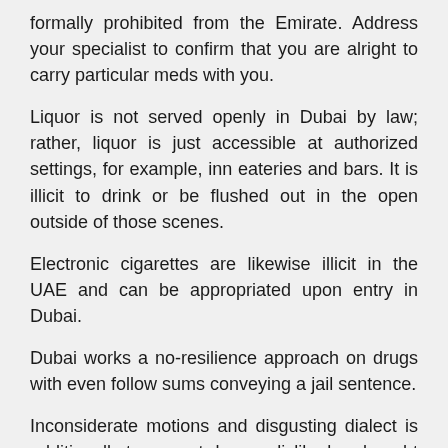formally prohibited from the Emirate. Address your specialist to confirm that you are alright to carry particular meds with you.
Liquor is not served openly in Dubai by law; rather, liquor is just accessible at authorized settings, for example, inn eateries and bars. It is illicit to drink or be flushed out in the open outside of those scenes.
Electronic cigarettes are likewise illicit in the UAE and can be appropriated upon entry in Dubai.
Dubai works a no-resilience approach on drugs with even follow sums conveying a jail sentence.
Inconsiderate motions and disgusting dialect is additionally to a great degree disliked and ought to be maintained a strategic distance from. Give careful consideration when managing law requirement and other government authorities to not cause offense.
Amid the blessed month of Ramadan numerous